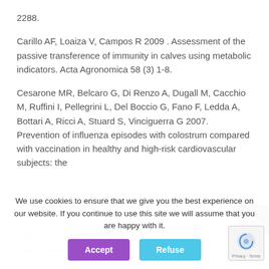2288.
Carillo AF, Loaiza V, Campos R 2009 . Assessment of the passive transference of immunity in calves using metabolic indicators. Acta Agronomica 58 (3) 1-8.
Cesarone MR, Belcaro G, Di Renzo A, Dugall M, Cacchio M, Ruffini I, Pellegrini L, Del Boccio G, Fano F, Ledda A, Bottari A, Ricci A, Stuard S, Vinciguerra G 2007. Prevention of influenza episodes with colostrum compared with vaccination in healthy and high-risk cardiovascular subjects: the... Thromb Hemost 13 (2) 150-6.
Chen CC, Tai YC, ... MC & Chan HM 2006. Detection of alkaline phosphatase by...
We use cookies to ensure that we give you the best experience on our website. If you continue to use this site we will assume that you are happy with it.